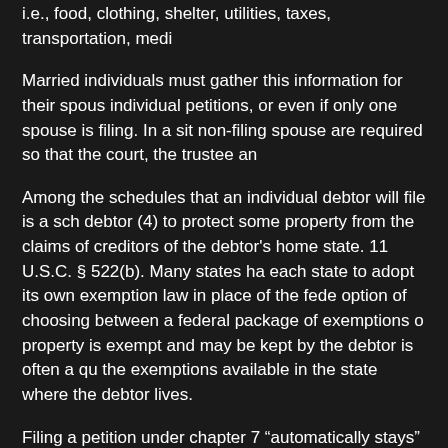i.e., food, clothing, shelter, utilities, taxes, transportation, medi
Married individuals must gather this information for their spous individual petitions, or even if only one spouse is filing. In a sit non-filing spouse are required so that the court, the trustee an
Among the schedules that an individual debtor will file is a sch debtor (4) to protect some property from the claims of creditors of the debtor's home state. 11 U.S.C. § 522(b). Many states ha each state to adopt its own exemption law in place of the fede option of choosing between a federal package of exemptions o property is exempt and may be kept by the debtor is often a qu the exemptions available in the state where the debtor lives.
Filing a petition under chapter 7 "automatically stays" (stops) n U.S.C. § 362. But filing the petition does not stay certain types effective only for a short time in some situations. The stay aris stay is in effect, creditors generally may not initiate or continue payments. The bankruptcy clerk gives notice of the bankruptcy debtor.
Between 21 and 40 days after the petition is filed, the case tru trustee or bankruptcy administrator (5) schedules the meeting administrator staffing, the meeting may be held no more than meeting, the trustee puts the debtor under oath, and both the t